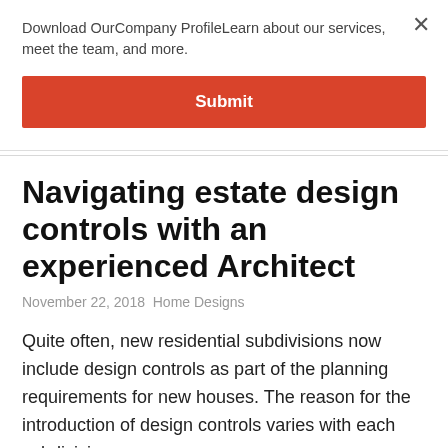Download OurCompany ProfileLearn about our services, meet the team, and more.
Submit
Navigating estate design controls with an experienced Architect
November 22, 2018 Home Designs
Quite often, new residential subdivisions now include design controls as part of the planning requirements for new houses. The reason for the introduction of design controls varies with each subdivision